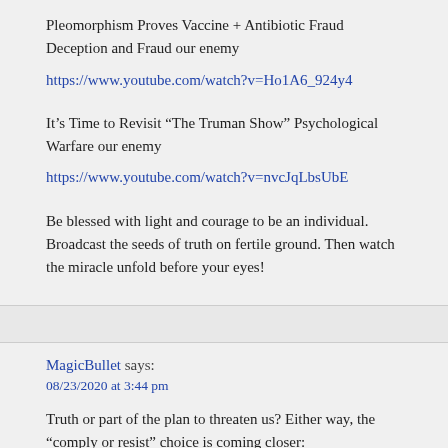Pleomorphism Proves Vaccine + Antibiotic Fraud Deception and Fraud our enemy
https://www.youtube.com/watch?v=Ho1A6_924y4
It’s Time to Revisit “The Truman Show” Psychological Warfare our enemy
https://www.youtube.com/watch?v=nvcJqLbsUbE
Be blessed with light and courage to be an individual. Broadcast the seeds of truth on fertile ground. Then watch the miracle unfold before your eyes!
MagicBullet says:
08/23/2020 at 3:44 pm
Truth or part of the plan to threaten us? Either way, the “comply or resist” choice is coming closer:
“They can limit access to schools or services or jobs if people don’t get vaccinated. They could force them to pay a fine or even lock